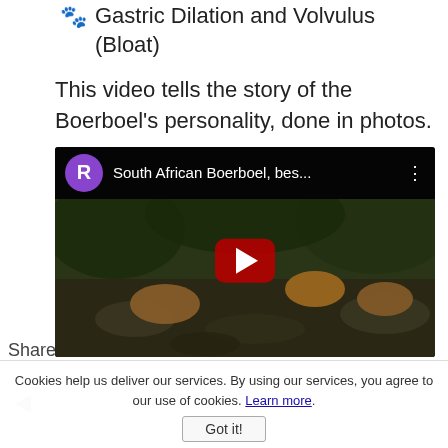🐾 Gastric Dilation and Volvulus (Bloat)
This video tells the story of the Boerboel's personality, done in photos.
[Figure (screenshot): Embedded YouTube video player showing 'South African Boerboel, bes...' with a purple channel avatar showing 'R', a red play button overlay, and dogs playing in a rocky stream as the thumbnail.]
Cookies help us deliver our services. By using our services, you agree to our use of cookies. Learn more.
Got it!